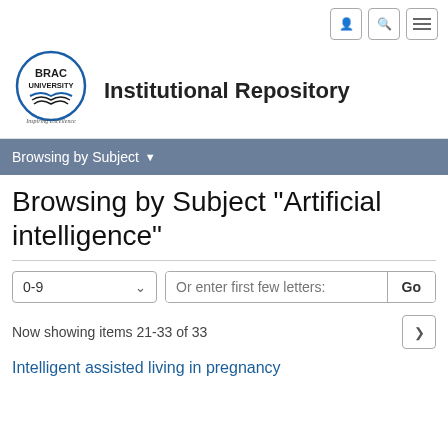BRAC University Institutional Repository
Browsing by Subject ▾
Browsing by Subject "Artificial intelligence"
Now showing items 21-33 of 33
Intelligent assisted living in pregnancy